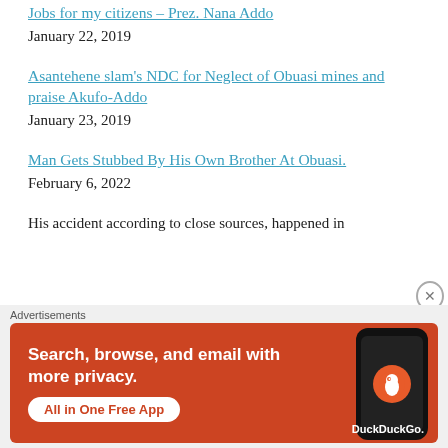Jobs for my citizens – Prez. Nana Addo
January 22, 2019
Asantehene slam's NDC for Neglect of Obuasi mines and praise Akufo-Addo
January 23, 2019
Man Gets Stubbed By His Own Brother At Obuasi.
February 6, 2022
His accident according to close sources, happened in
[Figure (advertisement): DuckDuckGo advertisement: Search, browse, and email with more privacy. All in One Free App. Orange background with phone graphic.]